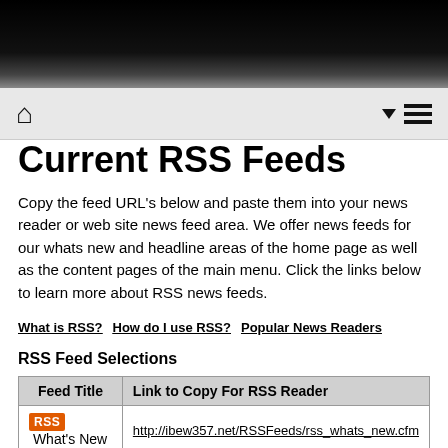Home | Menu
Current RSS Feeds
Copy the feed URL's below and paste them into your news reader or web site news feed area. We offer news feeds for our whats new and headline areas of the home page as well as the content pages of the main menu. Click the links below to learn more about RSS news feeds.
What is RSS?
How do I use RSS?
Popular News Readers
RSS Feed Selections
| Feed Title | Link to Copy For RSS Reader |
| --- | --- |
| RSS  What's New | http://ibew357.net/RSSFeeds/rss_whats_new.cfm |
What is RSS?
RSS stands for "Really Simple Syndication" and allows you to stay up-to-date with news feeds from our web site by delivering headlines as they are updated right to your news reader. You will be able to quickly read the headlines and then